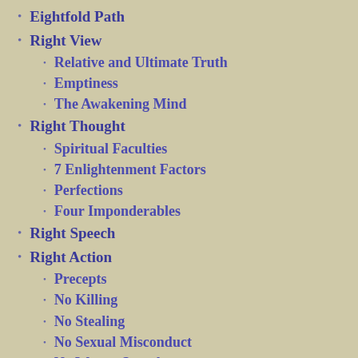Eightfold Path
Right View
Relative and Ultimate Truth
Emptiness
The Awakening Mind
Right Thought
Spiritual Faculties
7 Enlightenment Factors
Perfections
Four Imponderables
Right Speech
Right Action
Precepts
No Killing
No Stealing
No Sexual Misconduct
No Wrong Speech
No Intoxicants
The Eight Precepts
Right Livelihood
Life's Highest Blessings
Right Effort